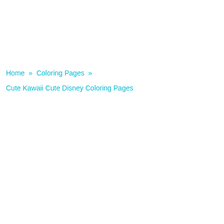Home » Coloring Pages »
Cute Kawaii Cute Disney Coloring Pages